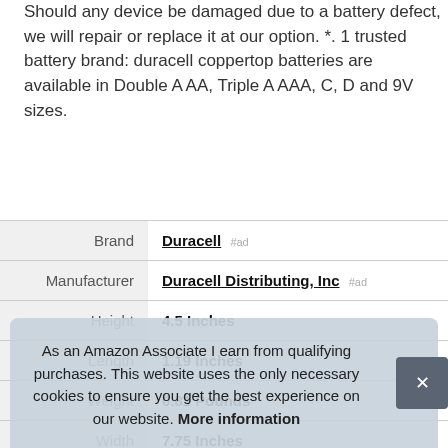Should any device be damaged due to a battery defect, we will repair or replace it at our option. *. 1 trusted battery brand: duracell coppertop batteries are available in Double A AA, Triple A AAA, C, D and 9V sizes.
| Attribute | Value |
| --- | --- |
| Brand | Duracell #ad |
| Manufacturer | Duracell Distributing, Inc #ad |
| Height | 4.5 Inches |
| Length | 1.19 Inches |
| Weight | 0.81 Pounds |
| Width | 7.75 Inches |
| P |  |
|  |  |
|  | this alkaline battery product, call 1-800-551 |
As an Amazon Associate I earn from qualifying purchases. This website uses the only necessary cookies to ensure you get the best experience on our website. More information